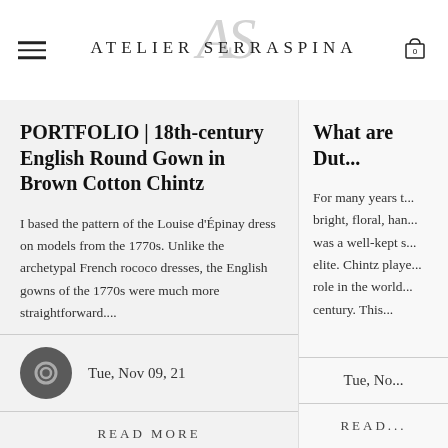ATELIER SERRASPINA
PORTFOLIO | 18th-century English Round Gown in Brown Cotton Chintz
I based the pattern of the Louise d'Épinay dress on models from the 1770s. Unlike the archetypal French rococo dresses, the English gowns of the 1770s were much more straightforward....
Tue, Nov 09, 21
READ MORE
What are Dut...
For many years t... bright, floral, han... was a well-kept s... elite. Chintz playe... role in the world... century. This...
Tue, No...
READ...